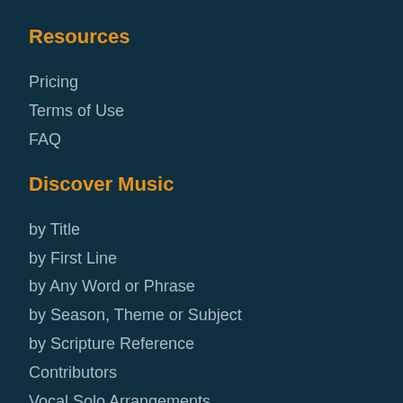Resources
Pricing
Terms of Use
FAQ
Discover Music
by Title
by First Line
by Any Word or Phrase
by Season, Theme or Subject
by Scripture Reference
Contributors
Vocal Solo Arrangements
Collections
Choral Anthem Arrangements
Additions and Updates
Musiklus